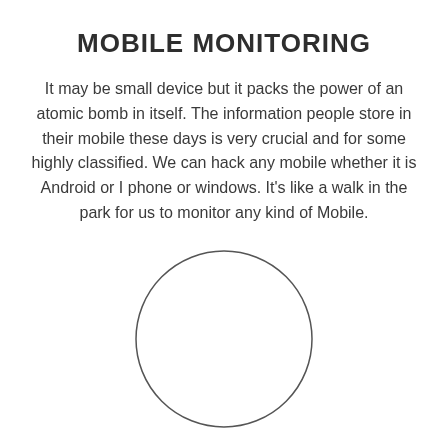MOBILE MONITORING
It may be small device but it packs the power of an atomic bomb in itself. The information people store in their mobile these days is very crucial and for some highly classified. We can hack any mobile whether it is Android or I phone or windows. It's like a walk in the park for us to monitor any kind of Mobile.
[Figure (illustration): A simple circle outline drawn with a thin dark stroke, centered in the lower half of the page.]